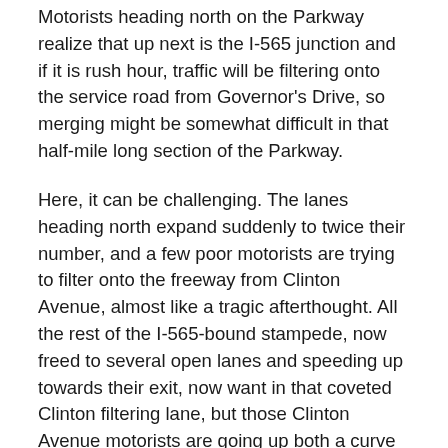Motorists heading north on the Parkway realize that up next is the I-565 junction and if it is rush hour, traffic will be filtering onto the service road from Governor's Drive, so merging might be somewhat difficult in that half-mile long section of the Parkway.
Here, it can be challenging. The lanes heading north expand suddenly to twice their number, and a few poor motorists are trying to filter onto the freeway from Clinton Avenue, almost like a tragic afterthought. All the rest of the I-565-bound stampede, now freed to several open lanes and speeding up towards their exit, now want in that coveted Clinton filtering lane, but those Clinton Avenue motorists are going up both a curve and an incline to filter onto the Parkway, and so aren't very fast. The tendency of I-565-bound cattle, er… motorists is definitely to speed up to get past the slower traffic and thus get into good